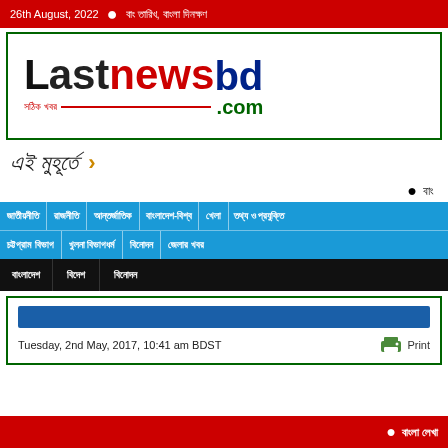26th August, 2022 • বাংলা তারিখ, বাংলা দিনক্ষণ
[Figure (logo): LastNewsBD.com logo with green border box, black 'Last', red 'news', dark blue 'bd', .com in green, Bengali tagline]
এই মুহূর্তে ›
বাংলা
জাতীয় • রাজনীতি • আন্তর্জাতিক • বাংলাদেশ-বিশ্ব • খেলা • তথ্য ও প্রযুক্তি • চট্টগ্রাম বিভাগ • খুলনা বিভাগধর্ম • বিনোদন • জেলার খবর
বাংলাদেশ • বিদেশ • বিনোদন
Tuesday, 2nd May, 2017, 10:41 am BDST
বাংলা লেখা